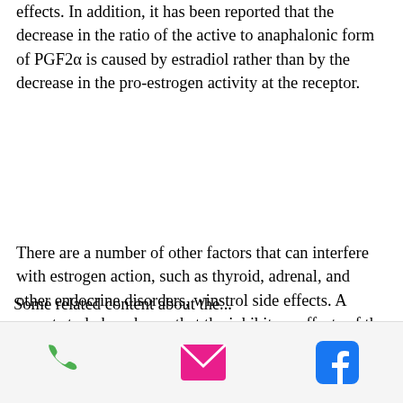effects. In addition, it has been reported that the decrease in the ratio of the active to anaphalonic form of PGF2α is caused by estradiol rather than by the decrease in the pro-estrogen activity at the receptor.
There are a number of other factors that can interfere with estrogen action, such as thyroid, adrenal, and other endocrine disorders, winstrol side effects. A recent study has shown that the inhibitory effects of the hypothalamus-pituitary-gonadal system on the pituitary-ovarian axis in humans are mediated through the estrogen receptor and to a large extent by estrogen. [2]
[Figure (other): Mobile app footer bar with three icons: phone (green), email/envelope (pink/magenta), and Facebook logo (blue)]